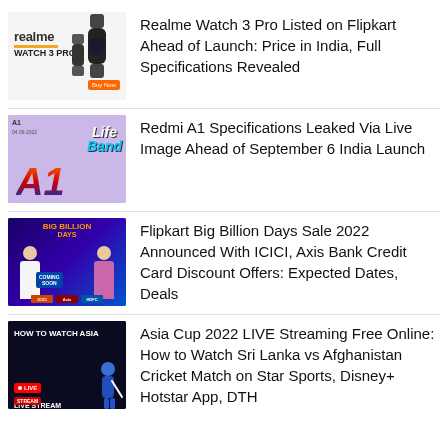[Figure (photo): Realme Watch 3 Pro product image with realme branding and orange stripe]
Realme Watch 3 Pro Listed on Flipkart Ahead of Launch: Price in India, Full Specifications Revealed
[Figure (photo): Redmi A1 launch promotional image with Life Banda A1 text on purple background]
Redmi A1 Specifications Leaked Via Live Image Ahead of September 6 India Launch
[Figure (photo): Flipkart Big Billion Days Sale 2022 promotional banner with Coming Soon text and two people]
Flipkart Big Billion Days Sale 2022 Announced With ICICI, Axis Bank Credit Card Discount Offers: Expected Dates, Deals
[Figure (photo): How to Watch Asia Cup Live Stream dark background with LIVE badge]
Asia Cup 2022 LIVE Streaming Free Online: How to Watch Sri Lanka vs Afghanistan Cricket Match on Star Sports, Disney+ Hotstar App, DTH